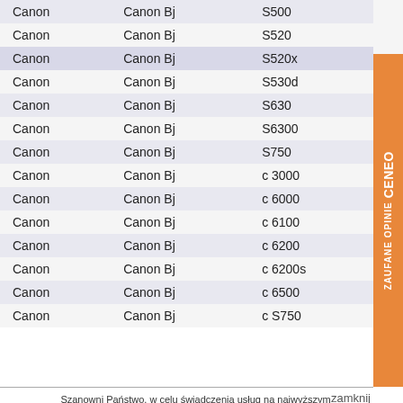| Canon | Canon Bj | S500 |
| Canon | Canon Bj | S520 |
| Canon | Canon Bj | S520x |
| Canon | Canon Bj | S530d |
| Canon | Canon Bj | S630 |
| Canon | Canon Bj | S6300 |
| Canon | Canon Bj | S750 |
| Canon | Canon Bj | c 3000 |
| Canon | Canon Bj | c 6000 |
| Canon | Canon Bj | c 6100 |
| Canon | Canon Bj | c 6200 |
| Canon | Canon Bj | c 6200s |
| Canon | Canon Bj | c 6500 |
| Canon | Canon Bj | c S750 |
Szanowni Państwo, w celu świadczenia usług na najwyższym poziomie, w ramach naszego serwisu stosujemy pliki cookies. Korzystanie z witryny bez zmiany ustawień dotyczących cookies oznacza, że będą one zamieszczane w Państwa urządzeniu końcowym. Jeśli nie wyrażają Państwo zgody, uprzejmie prosimy o dokonanie stosownych zmian w ustawieniach przeglądarki internetowej.  Polityka plików cookies
zamknij